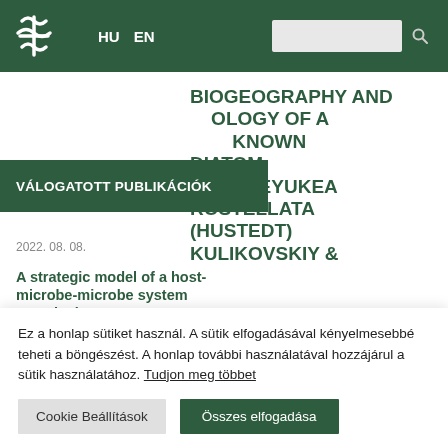HU EN [logo] [search]
VÁLOGATOTT PUBLIKÁCIÓK
BIOGEOGRAPHY AND ECOLOGY OF A KNOWN DIATOM DOROFEYUKEA ROSTELLATA (HUSTEDT) KULIKOVSKIY &
2022. 08. 08.
A strategic model of a host-microbe-microbe system reveals the
Ez a honlap sütiket használ. A sütik elfogadásával kényelmesebbé teheti a böngészést. A honlap további használatával hozzájárul a sütik használatához. Tudjon meg többet
Cookie Beállítások  Összes elfogadása